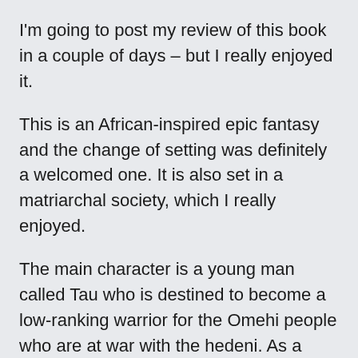I'm going to post my review of this book in a couple of days – but I really enjoyed it.
This is an African-inspired epic fantasy and the change of setting was definitely a welcomed one. It is also set in a matriarchal society, which I really enjoyed.
The main character is a young man called Tau who is destined to become a low-ranking warrior for the Omehi people who are at war with the hedeni. As a man, he is not “gifted” and therefore he will never be able to call a dragon. As a “lesser” he is not eligible to become a warrior who can magically transform in a bigger and stronger version of himself, and so